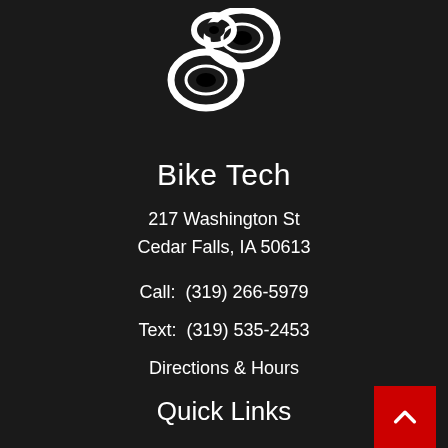[Figure (logo): Bike Tech logo — stylized bicycle chain links in black and white]
Bike Tech
217 Washington St
Cedar Falls, IA 50613
Call:  (319) 266-5979
Text:  (319) 535-2453
Directions & Hours
Quick Links
Shop Online
Sale/Closeout
Used Bikes